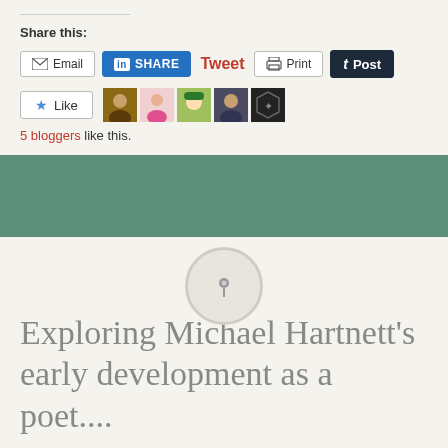Share this:
[Figure (screenshot): Social sharing buttons: Email, LinkedIn SHARE, Tweet, Print, Post]
[Figure (screenshot): Like button and 5 blogger avatar thumbnails]
5 bloggers like this.
[Figure (infographic): Green banner section with centered pin/pushpin icon in a circular button]
Exploring Michael Hartnett's early development as a poet....